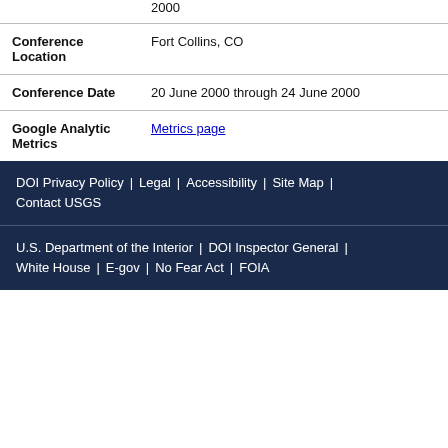| Field | Value |
| --- | --- |
|  | 2000 |
| Conference Location | Fort Collins, CO |
| Conference Date | 20 June 2000 through 24 June 2000 |
| Google Analytic Metrics | Metrics page |
DOI Privacy Policy | Legal | Accessibility | Site Map | Contact USGS
U.S. Department of the Interior | DOI Inspector General | White House | E-gov | No Fear Act | FOIA